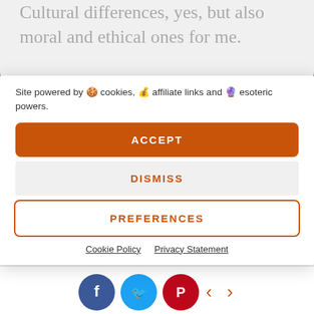Cultural differences, yes, but also moral and ethical ones for me.
Site powered by 🍪 cookies, 💰 affiliate links and 🔮 esoteric powers.
ACCEPT
DISMISS
PREFERENCES
Cookie Policy   Privacy Statement
reported on the company's victory in the board room battle against investors who wanted Wizards of the Coast spun out so something